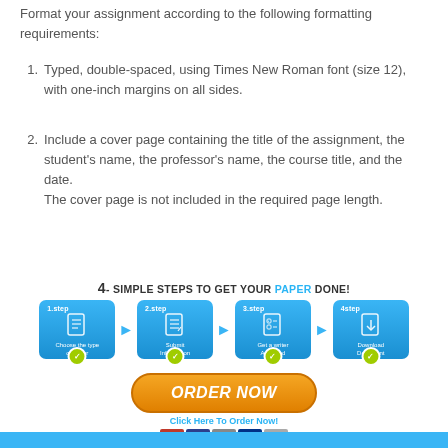Format your assignment according to the following formatting requirements:
1. Typed, double-spaced, using Times New Roman font (size 12), with one-inch margins on all sides.
2. Include a cover page containing the title of the assignment, the student's name, the professor's name, the course title, and the date. The cover page is not included in the required page length.
[Figure (infographic): 4 Simple Steps to Get Your Paper Done infographic with four blue step boxes (1.step Choose the type of paper, 2.step Submit Information, 3.step Get a writer Assigned, 4.step Download Document) connected by arrows, with an ORDER NOW button below and payment icons.]